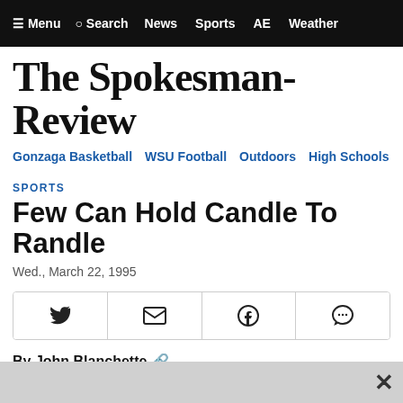≡ Menu  Search  News  Sports  AE  Weather
The Spokesman-Review
Gonzaga Basketball  WSU Football  Outdoors  High Schools
SPORTS
Few Can Hold Candle To Randle
Wed., March 22, 1995
By John Blanchette
blanchettejp@gmail.com
(509) 844-5558